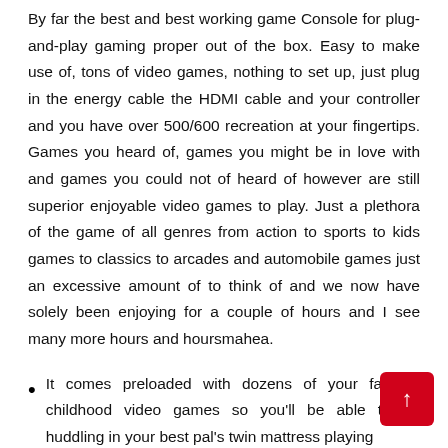By far the best and best working game Console for plug-and-play gaming proper out of the box. Easy to make use of, tons of video games, nothing to set up, just plug in the energy cable the HDMI cable and your controller and you have over 500/600 recreation at your fingertips. Games you heard of, games you might be in love with and games you could not of heard of however are still superior enjoyable video games to play. Just a plethora of the game of all genres from action to sports to kids games to classics to arcades and automobile games just an excessive amount of to think of and we now have solely been enjoying for a couple of hours and I see many more hours and hoursmahea.
It comes preloaded with dozens of your favorite childhood video games so you'll be able to be huddling in your best pal's twin mattress playing